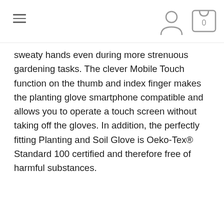Navigation bar with hamburger menu, user icon, and cart with 0 items
sweaty hands even during more strenuous gardening tasks. The clever Mobile Touch function on the thumb and index finger makes the planting glove smartphone compatible and allows you to operate a touch screen without taking off the gloves. In addition, the perfectly fitting Planting and Soil Glove is Oeko-Tex® Standard 100 certified and therefore free of harmful substances.
42% polyester, 55% nitrile, 3% elastane
This website uses cookies to ensure you get the best experience on our website. Learn more
Got it!
The durable Planting and Soil Glove is especially h...
W use cookies to improve your experience and track website sage.
Learn More   Got it